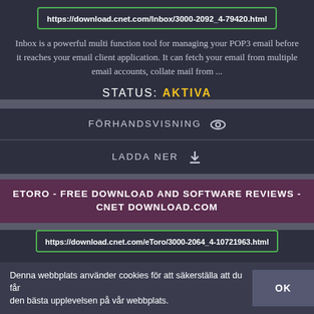https://download.cnet.com/Inbox/3000-2092_4-79420.html
Inbox is a powerful multi function tool for managing your POP3 email before it reaches your email client application. It can fetch your email from multiple email accounts, collate mail from ...
STATUS: AKTIVA
FÖRHANDSVISNING
LADDA NER
ETORO - FREE DOWNLOAD AND SOFTWARE REVIEWS - CNET DOWNLOAD.COM
https://download.cnet.com/eToro/3000-2064_4-10721963.html
eToro is an innovative and creative approach to online foreign exchange and commodities trading (FOREX). The platform boasts a state of the art
Denna webbplats använder cookies för att säkerställa att du får den bästa upplevelsen på vår webbplats.